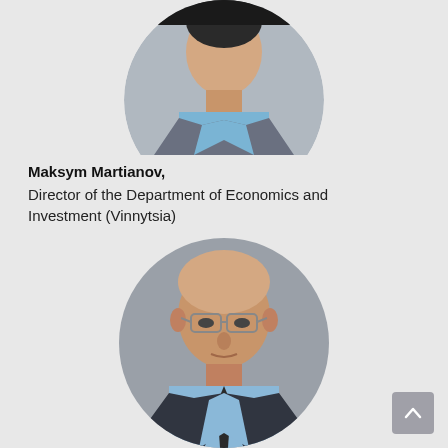[Figure (photo): Circular cropped portrait photo of a young man in a grey suit with a light blue shirt, partially visible at the top of the page.]
Maksym Martianov, Director of the Department of Economics and Investment (Vinnytsia)
[Figure (photo): Circular cropped portrait photo of a bald middle-aged man wearing glasses and a dark suit with a light blue shirt and dark tie.]